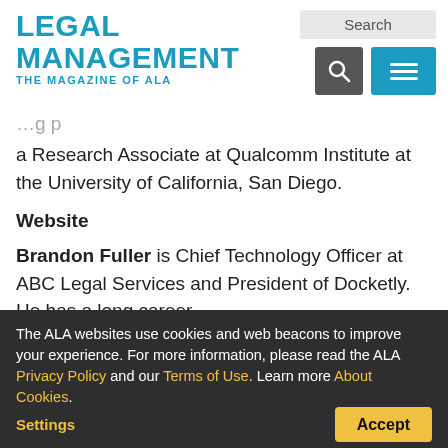LEGAL MANAGEMENT THE MAGAZINE OF ALA
a Research Associate at Qualcomm Institute at the University of California, San Diego.
Website
Brandon Fuller is Chief Technology Officer at ABC Legal Services and President of Docketly. He has a long career
The ALA websites use cookies and web beacons to improve your experience. For more information, please read the ALA Privacy Policy and our Terms of Use. Learn more About Cookies.
Settings
Accept